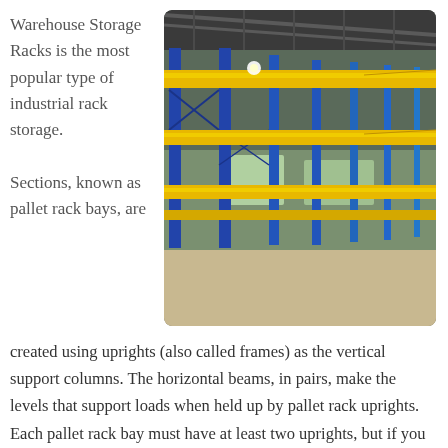Warehouse Storage Racks is the most popular type of industrial rack storage.
[Figure (photo): Interior of a large warehouse with blue steel upright frames and yellow horizontal beams forming multi-level pallet rack storage systems, extending into the background under a high ceiling.]
Sections, known as pallet rack bays, are created using uprights (also called frames) as the vertical support columns. The horizontal beams, in pairs, make the levels that support loads when held up by pallet rack uprights. Each pallet rack bay must have at least two uprights, but if you want to have multiple bays in a row